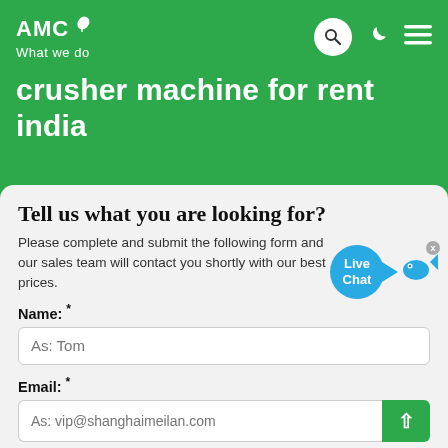AMC — What we do
crusher machine for rent india
Tell us what you are looking for?
Please complete and submit the following form and our sales team will contact you shortly with our best prices.
Name: *
As: Tom
Email: *
As: vip@shanghaimeilan.com
Phone: *
With Country Code